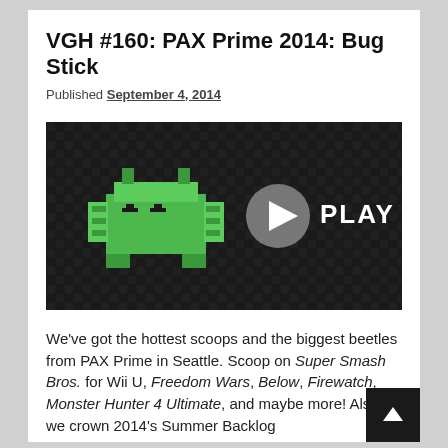VGH #160: PAX Prime 2014: Bug Stick
Published September 4, 2014
[Figure (screenshot): Podcast thumbnail with a green pixel-art bug/monster on a dark patterned background, with a play button circle and 'PLAY' text in white]
We've got the hottest scoops and the biggest beetles from PAX Prime in Seattle. Scoop on Super Smash Bros. for Wii U, Freedom Wars, Below, Firewatch, Monster Hunter 4 Ultimate, and maybe more! Also, we crown 2014's Summer Backlog champion.